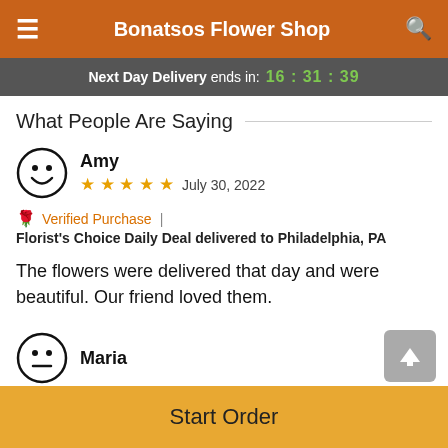Bonatsos Flower Shop
Next Day Delivery ends in: 16:31:39
What People Are Saying
Amy
★★★★★  July 30, 2022
🌹 Verified Purchase | Florist's Choice Daily Deal delivered to Philadelphia, PA
The flowers were delivered that day and were beautiful. Our friend loved them.
Maria